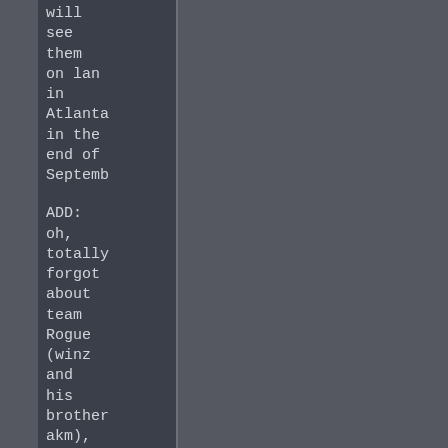will see them on lan in Atlanta in the end of Septemb
ADD: oh, totally forgot about team Rogue (winz and his brother akm), they'll also play there. Moreover they will be favorites